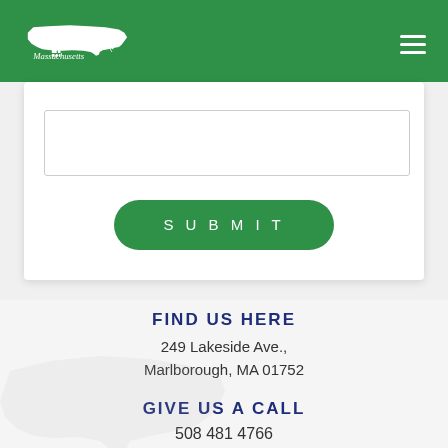[Figure (logo): Massachusetts state logo with map silhouette and text 'Massachusetts' in white on green header bar]
[Figure (other): Hamburger menu icon (three horizontal white lines) in top right of green header]
[Figure (other): Textarea input field (white box with resize handle) — part of a contact form]
SUBMIT
FIND US HERE
249 Lakeside Ave.,
Marlborough, MA 01752
GIVE US A CALL
508 481 4766
OFFICE HOURS